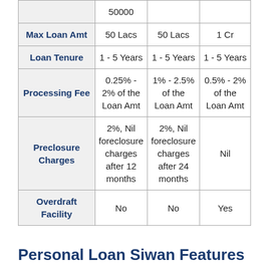|  | Col1 | Col2 | Col3 |
| --- | --- | --- | --- |
|  | 50000 |  |  |
| Max Loan Amt | 50 Lacs | 50 Lacs | 1 Cr |
| Loan Tenure | 1 - 5 Years | 1 - 5 Years | 1 - 5 Years |
| Processing Fee | 0.25% - 2% of the Loan Amt | 1% - 2.5% of the Loan Amt | 0.5% - 2% of the Loan Amt |
| Preclosure Charges | 2%, Nil foreclosure charges after 12 months | 2%, Nil foreclosure charges after 24 months | Nil |
| Overdraft Facility | No | No | Yes |
Personal Loan Siwan Features